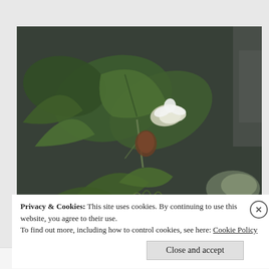[Figure (photo): A dark, moody photograph of tropical or wetland plants with large green leaves and a white flower, taken in dim lighting with rock or stone wall background. Dense foliage visible in foreground and background.]
Privacy & Cookies: This site uses cookies. By continuing to use this website, you agree to their use.
To find out more, including how to control cookies, see here: Cookie Policy
Close and accept
Follow